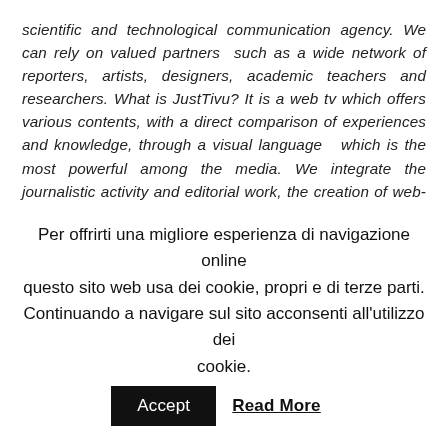scientific and technological communication agency. We can rely on valued partners such as a wide network of reporters, artists, designers, academic teachers and researchers. What is JustTivu? It is a web tv which offers various contents, with a direct comparison of experiences and knowledge, through a visual language which is the most powerful among the media. We integrate the journalistic activity and editorial work, the creation of web-based platforms with the ample communication possibilities of social networks: there are 58 millions Tweets being posted every day on Twitter, there are 3 millions messages exchanged among their users, every 20
Per offrirti una migliore esperienza di navigazione online questo sito web usa dei cookie, propri e di terze parti. Continuando a navigare sul sito acconsenti all'utilizzo dei cookie. Accept Read More